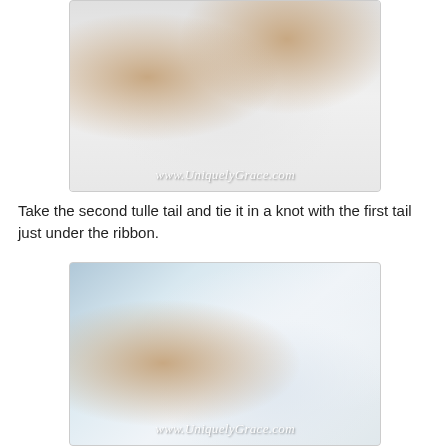[Figure (photo): Hands holding and manipulating clear/white tulle fabric over a white surface, with a watermark reading www.UniquelyGrace.com]
Take the second tulle tail and tie it in a knot with the first tail just under the ribbon.
[Figure (photo): A hand holding and pulling white tulle fabric, showing the tulle arrangement, with a watermark reading www.UniquelyGrace.com]